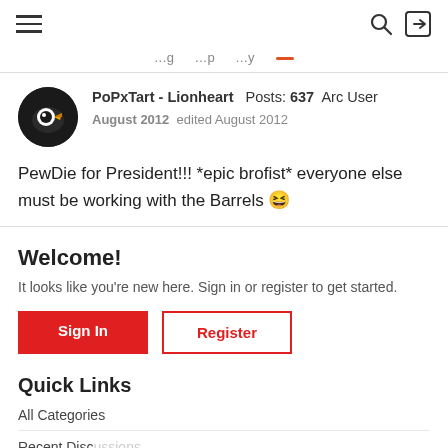Navigation bar with hamburger menu, search icon, and sign-in icon
...g ...p ...y ...
PoPxTart - Lionheart  Posts: 637  Arc User
August 2012  edited August 2012

PewDie for President!!! *epic brofist* everyone else must be working with the Barrels 😆
Welcome!
It looks like you're new here. Sign in or register to get started.
Sign In   Register
Quick Links
All Categories
Recent Discussions